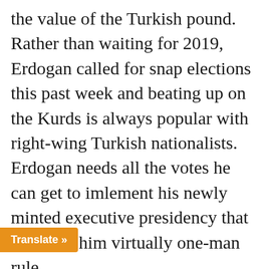the value of the Turkish pound. Rather than waiting for 2019, Erdogan called for snap elections this past week and beating up on the Kurds is always popular with right-wing Turkish nationalists. Erdogan needs all the votes he can get to imlement his newly minted executive presidency that will give him virtually one-man rule.

To be part of the alliance, however, Erdogan has had to modify his goal of getting rid of Syrian President Bashar to agree... at this point
Translate »